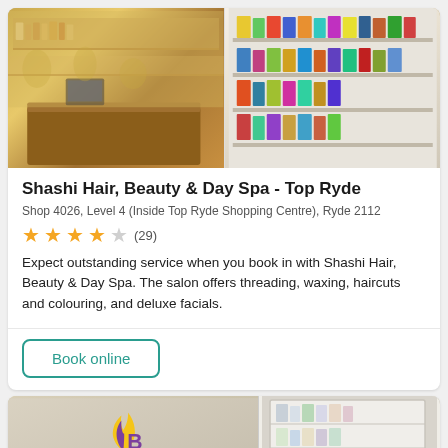[Figure (photo): Interior photo of Shashi Hair, Beauty & Day Spa showing a reception desk with warm yellow tones on the left side and product shelves on the right side]
Shashi Hair, Beauty & Day Spa - Top Ryde
Shop 4026, Level 4 (Inside Top Ryde Shopping Centre), Ryde 2112
★★★★☆ (29)
Expect outstanding service when you book in with Shashi Hair, Beauty & Day Spa. The salon offers threading, waxing, haircuts and colouring, and deluxe facials.
Book online
[Figure (photo): Interior photo of Hornsby Beauty salon showing a reception area with the Hornsby Beauty logo on the wall and product shelving unit on the right]